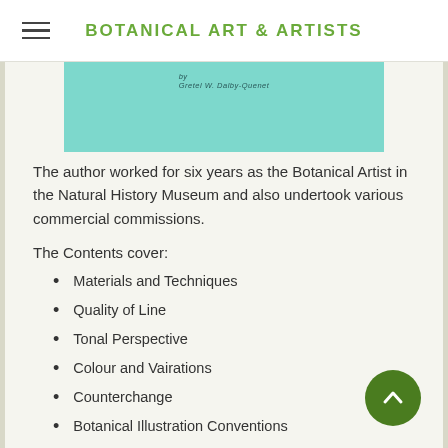BOTANICAL ART & ARTISTS
[Figure (photo): Partial view of a book cover with teal/mint background, text reads 'by Gretel W. Dalby-Quenet']
The author worked for six years as the Botanical Artist in the Natural History Museum and also undertook various commercial commissions.
The Contents cover:
Materials and Techniques
Quality of Line
Tonal Perspective
Colour and Vairations
Counterchange
Botanical Illustration Conventions
Dissections
Labelling